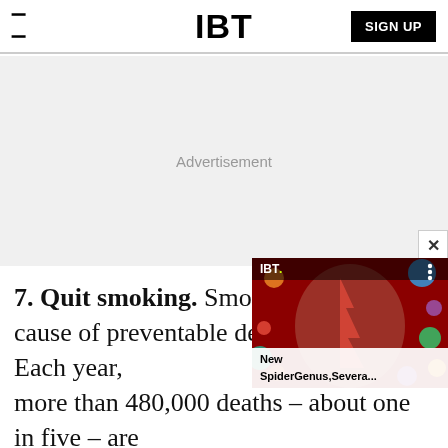IBT
[Figure (other): Advertisement placeholder area with gray background]
[Figure (other): IBT video widget overlay showing a colorful painted face portrait with planet-like circles, with close button, IBT logo, three-dot menu, and caption 'New SpiderGenus,Severa...']
7. Quit smoking. Smoking cause of preventable deaths in the U.S. Each year, more than 480,000 deaths – about one in five – are linked to smoking, according to the Centers for...